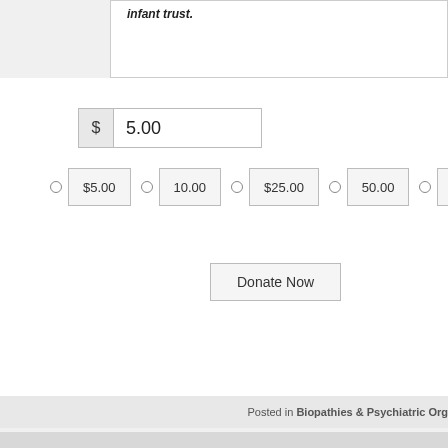infant trust.
$ 5.00
$5.00   10.00   $25.00   50.00   $100.00
Donate Now
Posted in Biopathies & Psychiatric Org
© 2022 The Journal of Psychiatric Orgone Therapy.